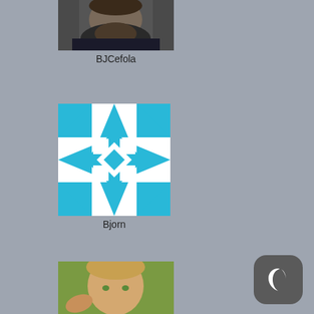[Figure (photo): Profile photo of a bearded man with dark hair wearing a dark jacket, cropped, partially visible from top]
BJCefola
[Figure (illustration): Blue and white geometric kaleidoscope-style avatar icon with snowflake/diamond pattern]
Bjorn
[Figure (photo): Profile photo of a young man with light hair and green eyes against a green background, arm raised to head]
[Figure (other): Dark gray rounded square button with white crescent moon icon in bottom right corner]